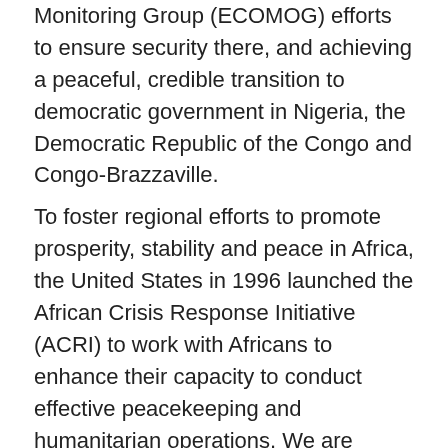Monitoring Group (ECOMOG) efforts to ensure security there, and achieving a peaceful, credible transition to democratic government in Nigeria, the Democratic Republic of the Congo and Congo-Brazzaville.
To foster regional efforts to promote prosperity, stability and peace in Africa, the United States in 1996 launched the African Crisis Response Initiative (ACRI) to work with Africans to enhance their capacity to conduct effective peacekeeping and humanitarian operations. We are coordinating with the French, British, other donor countries and African governments in developing a sustainable plan of action. The United States has already trained battalions from Uganda, Senegal, Malawi, Mali and Ghana, and is planning to train troops in Benin and Cote D'Ivoire later this year. We are consulting closely on ACRI activity with the UN Department of Peacekeeping Operations, the Organization of African Unity (OAU) and its Crisis